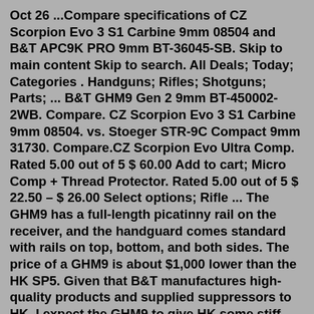Oct 26 ...Compare specifications of CZ Scorpion Evo 3 S1 Carbine 9mm 08504 and B&T APC9K PRO 9mm BT-36045-SB. Skip to main content Skip to search. All Deals; Today; Categories . Handguns; Rifles; Shotguns; Parts; ... B&T GHM9 Gen 2 9mm BT-450002-2WB. Compare. CZ Scorpion Evo 3 S1 Carbine 9mm 08504. vs. Stoeger STR-9C Compact 9mm 31730. Compare.CZ Scorpion Evo Ultra Comp. Rated 5.00 out of 5 $ 60.00 Add to cart; Micro Comp + Thread Protector. Rated 5.00 out of 5 $ 22.50 – $ 26.00 Select options; Rifle ... The GHM9 has a full-length picatinny rail on the receiver, and the handguard comes standard with rails on top, bottom, and both sides. The price of a GHM9 is about $1,000 lower than the HK SP5. Given that B&T manufactures high-quality products and supplied suppressors to HK, I expect the GHM9 to give HK some stiff competition!. "/>. The B&T GHM9 Compact Gen2 is a sporty 9x19mm pistol capable of accepting a brace or shoulder stock (all NFA rules apply). It is manufactured in...